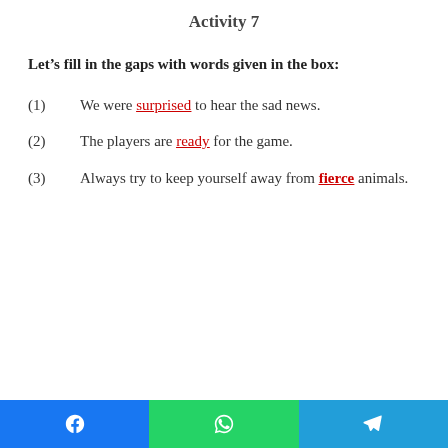Activity 7
Let’s fill in the gaps with words given in the box:
(1)   We were surprised to hear the sad news.
(2)   The players are ready for the game.
(3)   Always try to keep yourself away from fierce animals.
Social share bar: Facebook, WhatsApp, Telegram